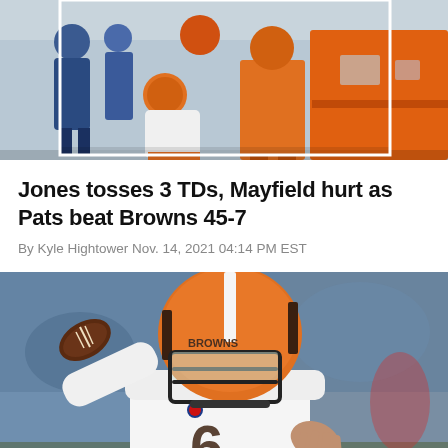[Figure (photo): Cleveland Browns player in orange uniform and helmet being escorted off field, blue-jacketed staff nearby, orange ambulance or vehicle in background]
Jones tosses 3 TDs, Mayfield hurt as Pats beat Browns 45-7
By Kyle Hightower Nov. 14, 2021 04:14 PM EST
[Figure (photo): Cleveland Browns quarterback #6 Baker Mayfield in white uniform throwing a pass, wearing orange helmet with brown and white stripes, green/blue blurred stadium background]